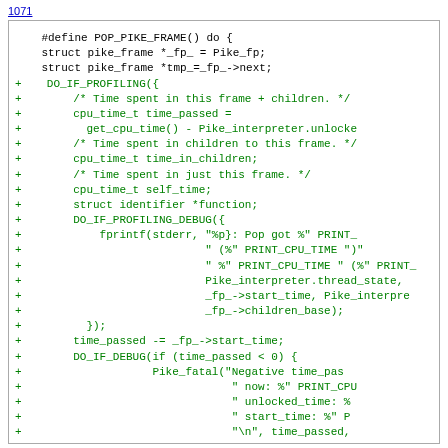1071
#define POP_PIKE_FRAME() do {
    struct pike_frame *_fp_ = Pike_fp;
    struct pike_frame *tmp_=_fp_->next;
+   DO_IF_PROFILING({
+       /* Time spent in this frame + children. */
+       cpu_time_t time_passed =
+         get_cpu_time() - Pike_interpreter.unlocke
+       /* Time spent in children to this frame. */
+       cpu_time_t time_in_children;
+       /* Time spent in just this frame. */
+       cpu_time_t self_time;
+       struct identifier *function;
+       DO_IF_PROFILING_DEBUG({
+           fprintf(stderr, "%p}: Pop got %" PRINT_
+                           " (%" PRINT_CPU_TIME ")"
+                           " %" PRINT_CPU_TIME " (%" PRINT_
+                           Pike_interpreter.thread_state,
+                           _fp_->start_time, Pike_interpre
+                           _fp_->children_base);
+         });
+       time_passed -= _fp_->start_time;
+       DO_IF_DEBUG(if (time_passed < 0) {
+                   Pike_fatal("Negative time_pas
+                               " now: %" PRINT_CPU
+                               " unlocked_time: %
+                               " start_time: %" P
+                               "\n", time_passed,